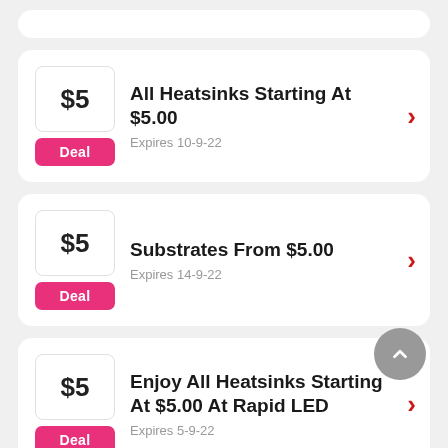All Heatsinks Starting At $5.00 — Expires 10-9-22 — Deal — $5
Substrates From $5.00 — Expires 14-9-22 — Deal — $5
Enjoy All Heatsinks Starting At $5.00 At Rapid LED — Expires 5-9-22 — Deal — $5